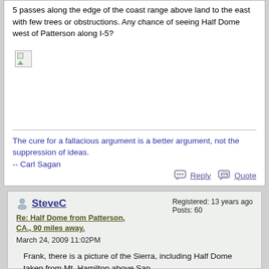5 passes along the edge of the coast range above land to the east with few trees or obstructions. Any chance of seeing Half Dome west of Patterson along I-5?
[Figure (photo): Broken/missing image placeholder icon]
The cure for a fallacious argument is a better argument, not the suppression of ideas.
-- Carl Sagan
Reply   Quote
SteveC
Re: Half Dome from Patterson, CA., 90 miles away.
March 24, 2009 11:02PM
Registered: 13 years ago
Posts: 60
Frank, there is a picture of the Sierra, including Half Dome taken from Mt. Hamilton above San